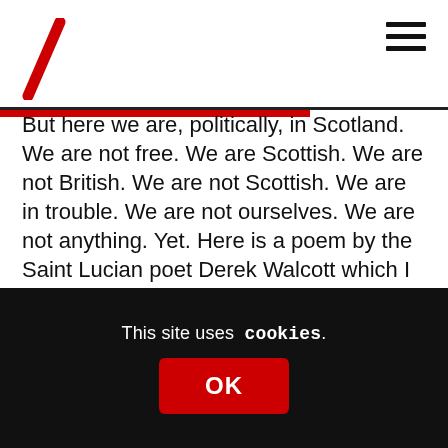University of Edinburgh logo and navigation menu
But here we are, politically, in Scotland. We are not free. We are Scottish. We are not British. We are not Scottish. We are in trouble. We are not ourselves. We are not anything. Yet. Here is a poem by the Saint Lucian poet Derek Walcott which I think sums us up:
“The time will come
when, with elation,
you will greet yourself arriving
at your own door, in your own mirror,
This site uses cookies.
OK